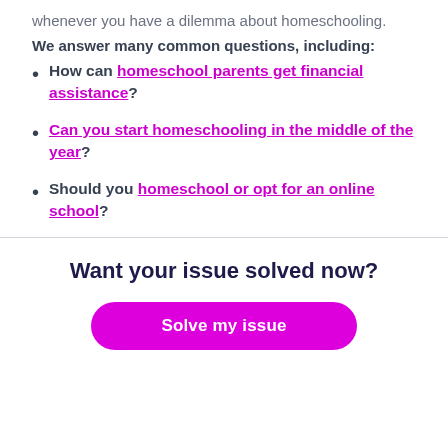whenever you have a dilemma about homeschooling.
We answer many common questions, including:
How can homeschool parents get financial assistance?
Can you start homeschooling in the middle of the year?
Should you homeschool or opt for an online school?
Want your issue solved now?
Solve my issue